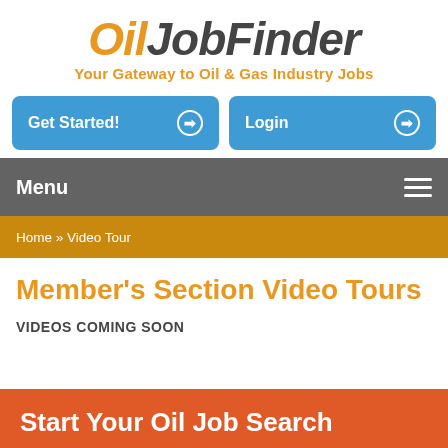OilJobFinder
Your Gateway to Oil & Gas Industry Jobs
Get Started!
Login
Menu
Home » Video Tour
Member's Section Video Tours
VIDEOS COMING SOON
Start Your Oil Job Search